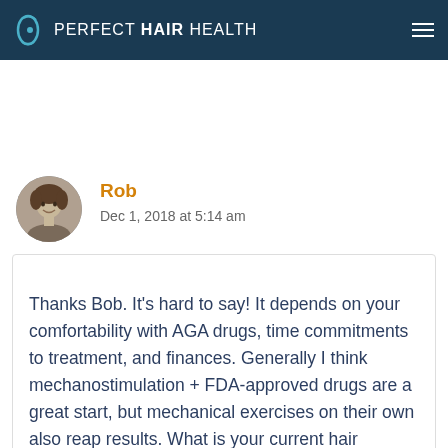PERFECT HAIR HEALTH
Rob
Dec 1, 2018 at 5:14 am
Thanks Bob. It's hard to say! It depends on your comfortability with AGA drugs, time commitments to treatment, and finances. Generally I think mechanostimulation + FDA-approved drugs are a great start, but mechanical exercises on their own also reap results. What is your current hair regimen?